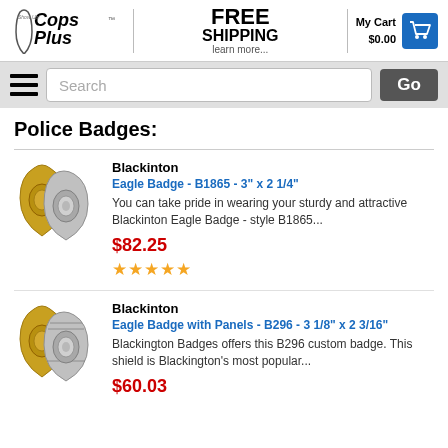[Figure (logo): Cops Plus logo with shield graphic and tagline 'A Combat Tactical Brand']
FREE SHIPPING learn more...
My Cart $0.00
Search
Police Badges:
Blackinton
Eagle Badge - B1865 - 3" x 2 1/4"
You can take pride in wearing your sturdy and attractive Blackinton Eagle Badge - style B1865...
$82.25
★★★★★
Blackinton
Eagle Badge with Panels - B296 - 3 1/8" x 2 3/16"
Blackington Badges offers this B296 custom badge. This shield is Blackington's most popular...
$60.03